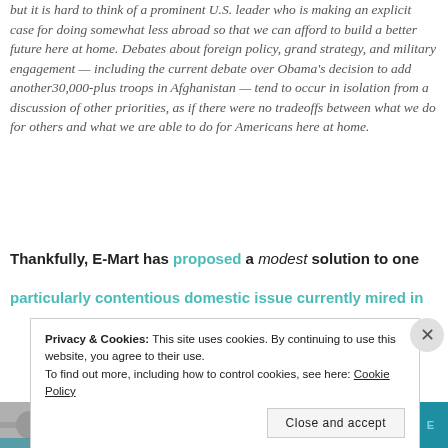but it is hard to think of a prominent U.S. leader who is making an explicit case for doing somewhat less abroad so that we can afford to build a better future here at home. Debates about foreign policy, grand strategy, and military engagement — including the current debate over Obama's decision to add another30,000-plus troops in Afghanistan — tend to occur in isolation from a discussion of other priorities, as if there were no tradeoffs between what we do for others and what we are able to do for Americans here at home.
Thankfully, E-Mart has proposed a modest solution to one particularly contentious domestic issue currently mired in
Privacy & Cookies: This site uses cookies. By continuing to use this website, you agree to their use. To find out more, including how to control cookies, see here: Cookie Policy
[Figure (other): Bottom banner advertisement with image on left, italic text 'for life' in center, and 'DAY ONE' logo text on right, teal/blue background]